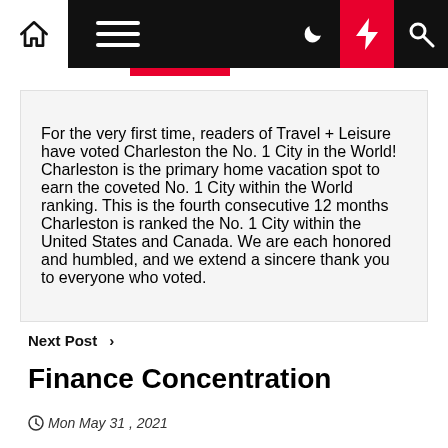Navigation bar with home, menu, dark mode, lightning/trending, and search icons
For the very first time, readers of Travel + Leisure have voted Charleston the No. 1 City in the World! Charleston is the primary home vacation spot to earn the coveted No. 1 City within the World ranking. This is the fourth consecutive 12 months Charleston is ranked the No. 1 City within the United States and Canada. We are each honored and humbled, and we extend a sincere thank you to everyone who voted.
Next Post >
Finance Concentration
Mon May 31, 2021